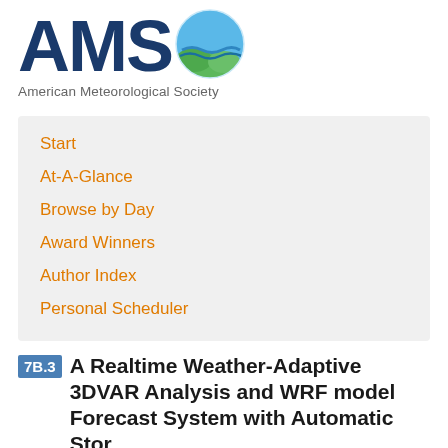[Figure (logo): AMS (American Meteorological Society) logo with globe icon and text]
American Meteorological Society
Start
At-A-Glance
Browse by Day
Award Winners
Author Index
Personal Scheduler
7B.3 A Realtime Weather-Adaptive 3DVAR Analysis and WRF model Forecast System with Automatic Stor…